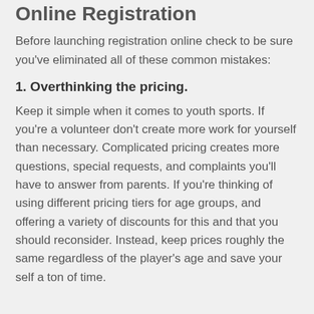Online Registration
Before launching registration online check to be sure you've eliminated all of these common mistakes:
1. Overthinking the pricing.
Keep it simple when it comes to youth sports. If you're a volunteer don't create more work for yourself than necessary. Complicated pricing creates more questions, special requests, and complaints you'll have to answer from parents. If you're thinking of using different pricing tiers for age groups, and offering a variety of discounts for this and that you should reconsider. Instead, keep prices roughly the same regardless of the player's age and save your self a ton of time.